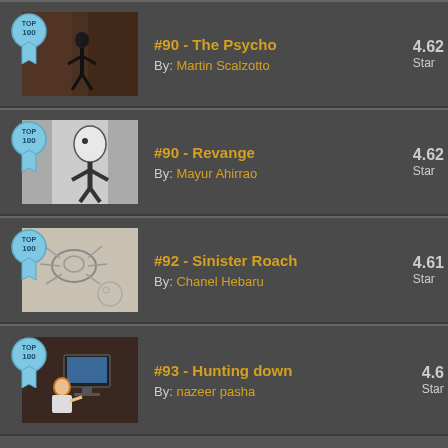[Figure (screenshot): List entry for #90 - The Psycho with Top 100 badge, thumbnail of animated character in dark scene, rating 4.62 Stars, By: Martin Scalzotto]
[Figure (screenshot): List entry for #90 - Revange with Top 100 badge, thumbnail of animated character in grey scene, rating 4.62 Stars, By: Mayur Ahirrao]
[Figure (screenshot): List entry for #92 - Sinister Roach with Top 100 badge, thumbnail of sketched roach character, rating 4.61 Stars, By: Chanel Hebaru]
[Figure (screenshot): List entry for #93 - Hunting down with Top 100 badge, thumbnail of animated character at computer, rating 4.6, By: nazeer pasha]